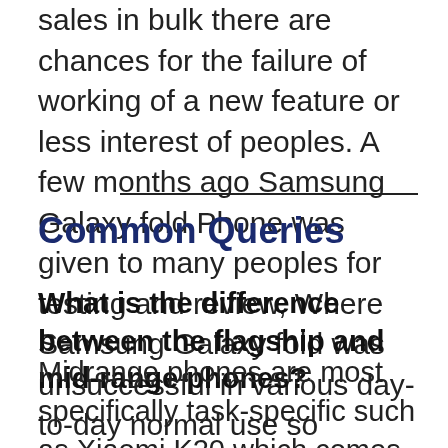sales in bulk there are chances for the failure of working of a new feature or less interest of peoples. A few months ago Samsung Galaxy fold Phone was given to many peoples for testing and review, Where Samsung Galaxy fold was unsuccessful in various day-to-day normal use so Samsung just called them back to all review models.
Common Queries
What is the difference between the flagship and mid-range phones?
Midrange phones are most specifically task-specific such as Xiaomi K20 which comes with fast charge supports and a triple camera setup very good overall design, in short, it is a very good midrange mobile under 23,000 INR.